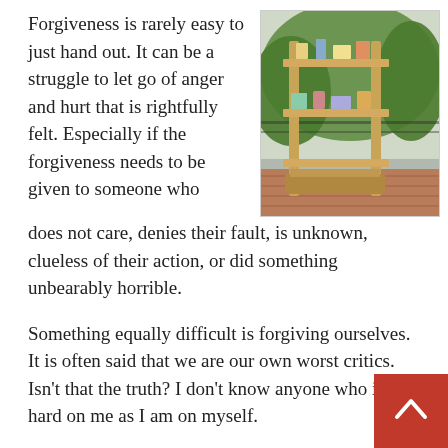Forgiveness is rarely easy to just hand out. It can be a struggle to let go of anger and hurt that is rightfully felt. Especially if the forgiveness needs to be given to someone who does not care, denies their fault, is unknown, clueless of their action, or did something unbearably horrible.
[Figure (photo): A wooden shelving unit or market stand outdoors on a brick pavement, with items on the shelves, trees and an iron fence visible in the background.]
Something equally difficult is forgiving ourselves. It is often said that we are our own worst critics. Isn't that the truth? I don't know anyone who is as hard on me as I am on myself.
Regardless, we are required to forgive if we want to be forgiven. What all does this entail? Well, let's look at the definition from Webster's: